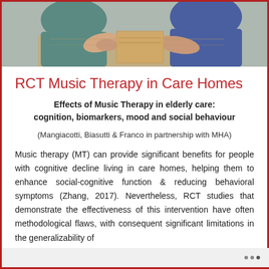[Figure (photo): People sitting together, appears to be a music therapy or social care session with hands visible in the foreground]
RCT Music Therapy in Care Homes
Effects of Music Therapy in elderly care: cognition, biomarkers, mood and social behaviour
(Mangiacotti, Biasutti & Franco in partnership with MHA)
Music therapy (MT) can provide significant benefits for people with cognitive decline living in care homes, helping them to enhance social-cognitive function & reducing behavioral symptoms (Zhang, 2017). Nevertheless, RCT studies that demonstrate the effectiveness of this intervention have often methodological flaws, with consequent significant limitations in the generalizability of